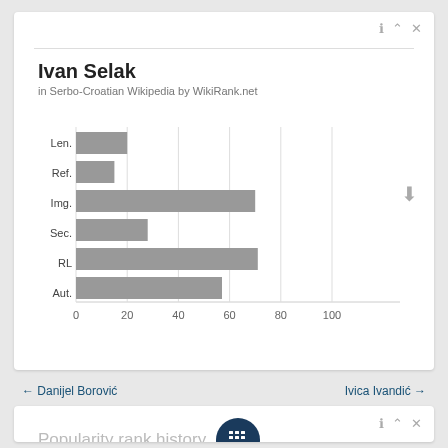Ivan Selak
in Serbo-Croatian Wikipedia by WikiRank.net
[Figure (bar-chart): ]
← Danijel Borović
Ivica Ivandić →
Popularity rank history